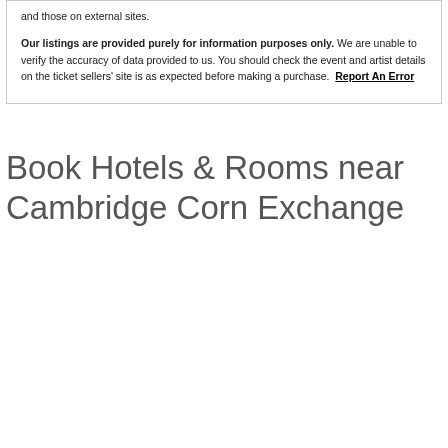and those on external sites.
Our listings are provided purely for information purposes only. We are unable to verify the accuracy of data provided to us. You should check the event and artist details on the ticket sellers' site is as expected before making a purchase. Report An Error
Book Hotels & Rooms near Cambridge Corn Exchange